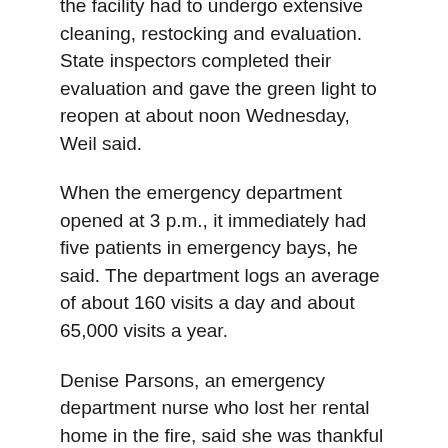the facility had to undergo extensive cleaning, restocking and evaluation. State inspectors completed their evaluation and gave the green light to reopen at about noon Wednesday, Weil said.
When the emergency department opened at 3 p.m., it immediately had five patients in emergency bays, he said. The department logs an average of about 160 visits a day and about 65,000 visits a year.
Denise Parsons, an emergency department nurse who lost her rental home in the fire, said she was thankful to be back at work.
This article originally appeared in The Press Democrat